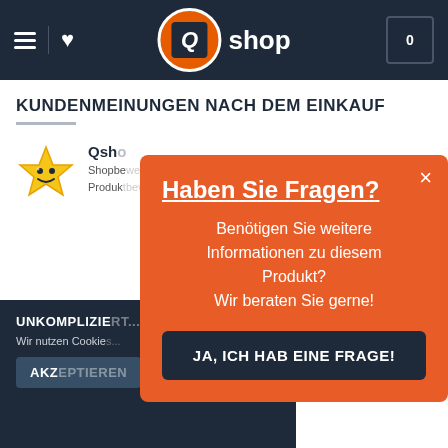[Figure (screenshot): Q-shop website navigation bar with hamburger menu, heart icon, Q-shop logo, and cart icon showing 0 items]
KUNDENMEINUNGEN NACH DEM EINKAUF
[Figure (illustration): Yellow smiley star icon next to Qshop review section with Shopbewertung and Produktbewertung text]
UNKOMPLIZIERT...
Wir nutzen Cookie...
AKZEPTIEREN
Haben Sie Fragen?
Benötigen Sie weitere Informationen zu diesem Produkt? Wir beraten Sie gerne!
JA, ICH HAB EINE FRAGE!